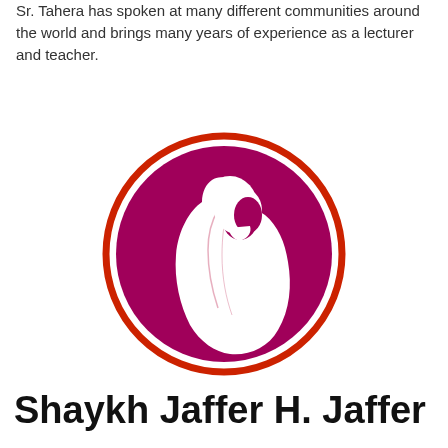Sr. Tahera has spoken at many different communities around the world and brings many years of experience as a lecturer and teacher.
[Figure (illustration): Circular logo with a red border ring on white background, magenta/dark pink circle containing a white silhouette illustration of a woman wearing a hijab, shown in profile facing right.]
Shaykh Jaffer H. Jaffer